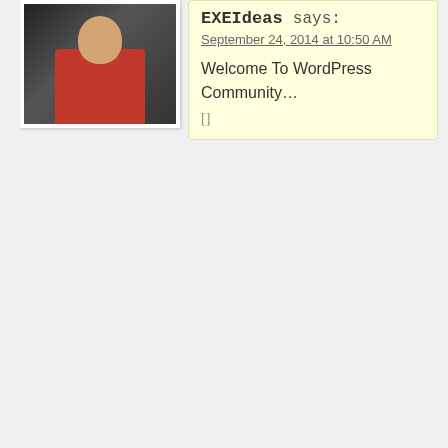[Figure (photo): Avatar/profile photo of a man wearing a red shirt and dark jacket, displayed in a bordered photo frame style.]
EXEIdeas says:
September 24, 2014 at 10:50 AM
Welcome To WordPress Community...
[]